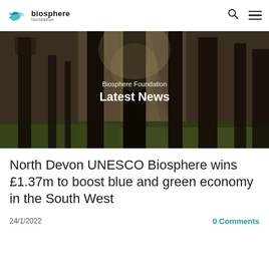[Figure (logo): Biosphere Foundation logo with teal bird/leaf icon and text 'biosphere foundation']
[Figure (photo): Forest scene with tall trees and rays of sunlight filtering through, mossy ground, with overlaid text 'Biosphere Foundation' and 'Latest News']
North Devon UNESCO Biosphere wins £1.37m to boost blue and green economy in the South West
24/1/2022
0 Comments